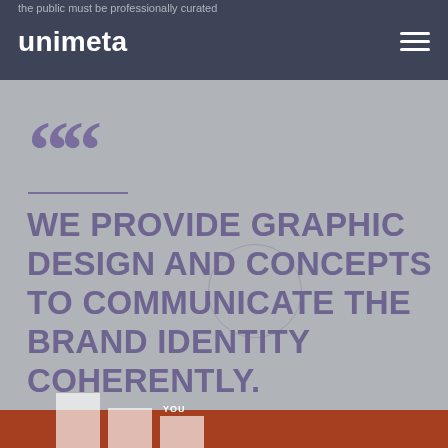the public must be professionally curated
unimeta
WE PROVIDE GRAPHIC DESIGN AND CONCEPTS TO COMMUNICATE THE BRAND IDENTITY COHERENTLY.
[Figure (bar-chart): Partial bar chart on red-brown background with 'YOU' label and white bars partially visible at bottom of page]